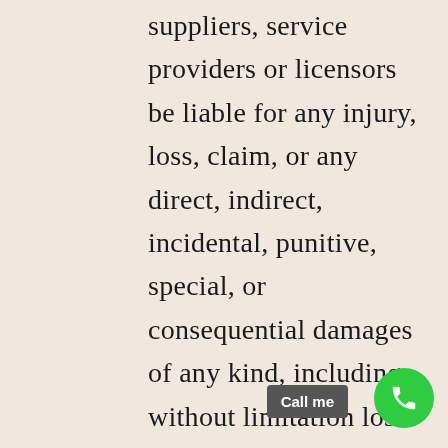suppliers, service providers or licensors be liable for any injury, loss, claim, or any direct, indirect, incidental, punitive, special, or consequential damages of any kind, including, without limitation lost profits, lost revenue, lost savings, loss of data, replacement costs, or any similar damages, whether based in contract, tort (including negligence), strict liability or otherwise, arising from your use of any of the service or any products procured using the service, or for any other claim related